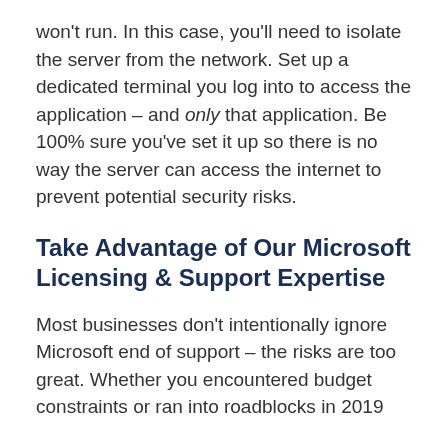won't run. In this case, you'll need to isolate the server from the network. Set up a dedicated terminal you log into to access the application – and only that application. Be 100% sure you've set it up so there is no way the server can access the internet to prevent potential security risks.
Take Advantage of Our Microsoft Licensing & Support Expertise
Most businesses don't intentionally ignore Microsoft end of support – the risks are too great. Whether you encountered budget constraints or ran into roadblocks in 2019